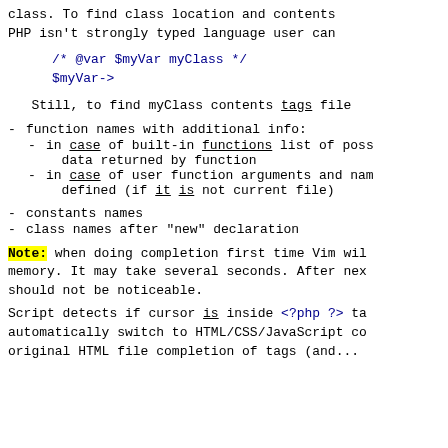class. To find class location and contents PHP isn't strongly typed language user can
/* @var $myVar myClass */
$myVar->
Still, to find myClass contents tags file
- function names with additional info:
- in case of built-in functions list of poss data returned by function
- in case of user function arguments and nam defined (if it is not current file)
- constants names
- class names after "new" declaration
Note: when doing completion first time Vim wil memory. It may take several seconds. After nex should not be noticeable.
Script detects if cursor is inside <?php ?> ta automatically switch to HTML/CSS/JavaScript co original HTML file completion of tags (and...